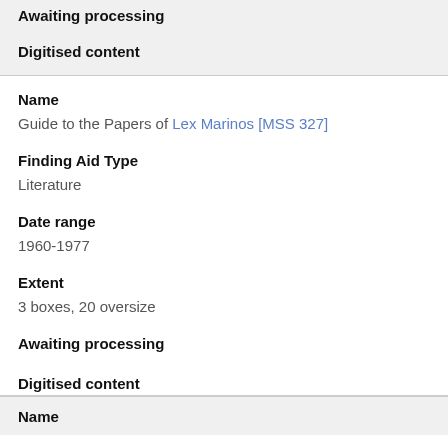Awaiting processing
Digitised content
Name
Guide to the Papers of Lex Marinos [MSS 327]
Finding Aid Type
Literature
Date range
1960-1977
Extent
3 boxes, 20 oversize
Awaiting processing
Digitised content
Name